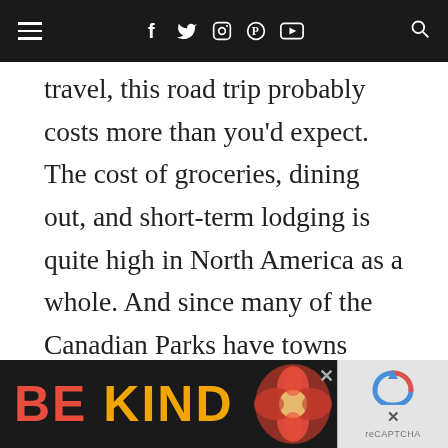Navigation bar with hamburger menu, social icons (f, twitter, instagram, pinterest, youtube), and search icon
travel, this road trip probably costs more than you'd expect. The cost of groceries, dining out, and short-term lodging is quite high in North America as a whole. And since many of the Canadian Parks have towns within their bounds, it is a constant temptation go out for burgers and beer or splurge on a hotel night if the weather
[Figure (infographic): Bottom ad banner reading BE KIND with decorative floral image, and a reCAPTCHA widget on the right side]